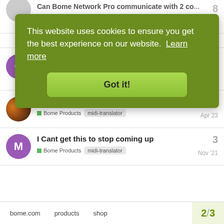[Figure (screenshot): Cookie consent banner overlay on a forum website listing. The banner has a dark olive/green background and says 'This website uses cookies to ensure you get the best experience on our website. Learn more' with a bright green 'Got it!' button.]
Can Bome Network Pro communicate with 2 co...
Bome Products  midi-translator  Jul 25  8
Can't connect to BomeBox Network via phone
Bome Products  Jun 12  18
☑ Disable MIDI device
Bome Products  midi-translator  Apr 23  7
I Cant get this to stop coming up
Bome Products  midi-translator  Nov '21  3
bome.com   products   shop   2 / 3